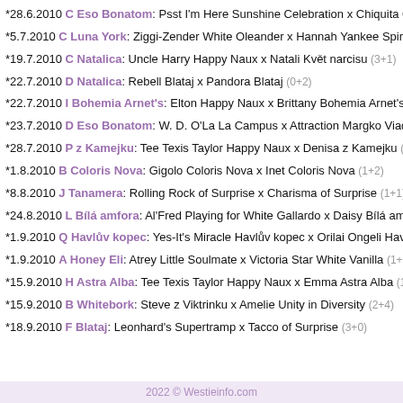*28.6.2010 C Eso Bonatom: Psst I'm Here Sunshine Celebration x Chiquita Orchi
*5.7.2010 C Luna York: Ziggi-Zender White Oleander x Hannah Yankee Spirit's (0+
*19.7.2010 C Natalica: Uncle Harry Happy Naux x Natali Květ narcisu (3+1)
*22.7.2010 D Natalica: Rebell Blataj x Pandora Blataj (0+2)
*22.7.2010 I Bohemia Arnet's: Elton Happy Naux x Brittany Bohemia Arnet's (1+2)
*23.7.2010 D Eso Bonatom: W. D. O'La La Campus x Attraction Margko Viad (0+1
*28.7.2010 P z Kamejku: Tee Texis Taylor Happy Naux x Denisa z Kamejku (2+3)
*1.8.2010 B Coloris Nova: Gigolo Coloris Nova x Inet Coloris Nova (1+2)
*8.8.2010 J Tanamera: Rolling Rock of Surprise x Charisma of Surprise (1+1)
*24.8.2010 L Bílá amfora: Al'Fred Playing for White Gallardo x Daisy Bílá amfora
*1.9.2010 Q Havlův kopec: Yes-It's Miracle Havlův kopec x Orilai Ongeli Havlův k
*1.9.2010 A Honey Eli: Atrey Little Soulmate x Victoria Star White Vanilla (1+0)
*15.9.2010 H Astra Alba: Tee Texis Taylor Happy Naux x Emma Astra Alba (1+0)
*15.9.2010 B Whitebork: Steve z Viktrinku x Amelie Unity in Diversity (2+4)
*18.9.2010 F Blataj: Leonhard's Supertramp x Tacco of Surprise (3+0)
2022 © Westieinfo.com